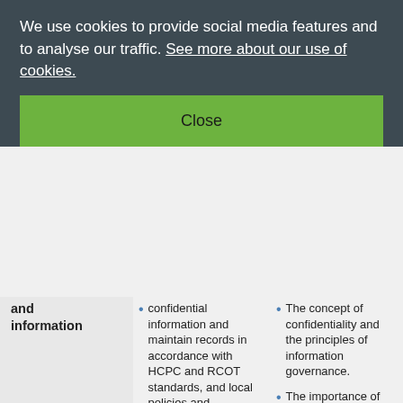We use cookies to provide social media features and to analyse our traffic. See more about our use of cookies.
Close
and information
confidential information and maintain records in accordance with HCPC and RCOT standards, and local policies and procedures.
Gain informed consent prior to assessment
The concept of confidentiality and the principles of information governance.
The importance of managing records and other information in accordance with